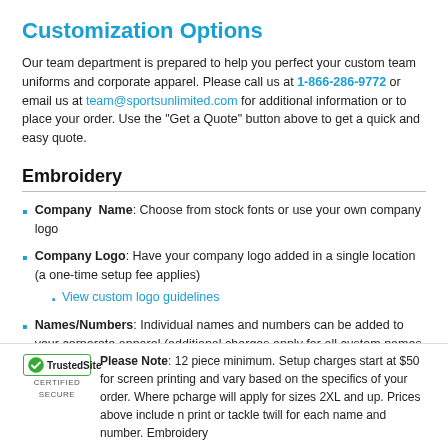Customization Options
Our team department is prepared to help you perfect your custom team uniforms and corporate apparel. Please call us at 1-866-286-9772 or email us at team@sportsunlimited.com for additional information or to place your order. Use the "Get a Quote" button above to get a quick and easy quote.
Embroidery
Company Name: Choose from stock fonts or use your own company logo
Company Logo: Have your company logo added in a single location (a one-time setup fee applies)
View custom logo guidelines
Names/Numbers: Individual names and numbers can be added to your corporate apparel (additional charges apply for all custom names and numbers)
Please Note: 12 piece minimum. Setup charges start at $50 for screen printing and vary based on the specifics of your order. Where pcharge will apply for sizes 2XL and up. Prices above include n print or tackle twill for each name and number. Embroidery